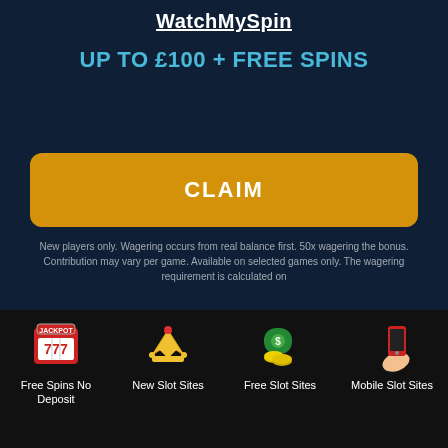WatchMySpin
UP TO £100 + FREE SPINS
CLAIM
New players only. Wagering occurs from real balance first. 50x wagering the bonus. Contribution may vary per game. Available on selected games only. The wagering requirement is calculated on
Free Spins No Deposit
New Slot Sites
Free Slot Sites
Mobile Slot Sites